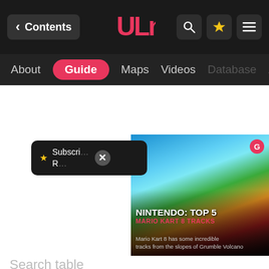< Contents | [logo] | search | star | menu
About | Guide | Maps | Videos | Database | Ac...
[Figure (screenshot): Subscribe popup with star icon and X close button, and Nintendo: Top 5 Mario Kart 8 Tracks video thumbnail overlay]
Search table
| Field | Value |
| --- | --- |
| No. |  |
| Region |  |
| Area | Bolderoll Slope |
| Description | On a little crevice on Bolderoll Slope |